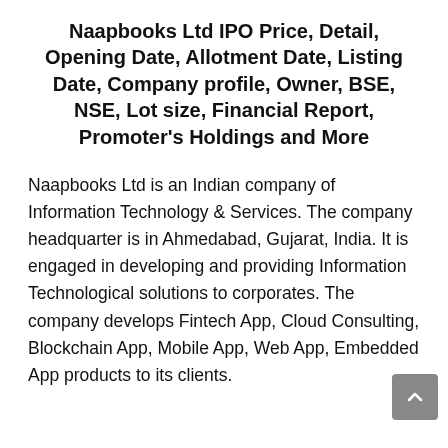Naapbooks Ltd IPO Price, Detail, Opening Date, Allotment Date, Listing Date, Company profile, Owner, BSE, NSE, Lot size, Financial Report, Promoter's Holdings and More
Naapbooks Ltd is an Indian company of Information Technology & Services. The company headquarter is in Ahmedabad, Gujarat, India. It is engaged in developing and providing Information Technological solutions to corporates. The company develops Fintech App, Cloud Consulting, Blockchain App, Mobile App, Web App, Embedded App products to its clients.